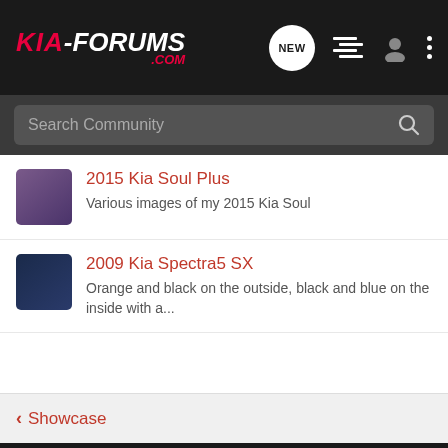KIA-FORUMS.COM
2015 Kia Soul Plus — Various images of my 2015 Kia Soul
2009 Kia Spectra5 SX — Orange and black on the outside, black and blue on the inside with a...
< Showcase
Home | About Us | Terms of Use | Privacy Policy | Help | Business Directory | Contact Us | Grow Your Business NEW RSS | VerticalScope Inc., 111 Peter Street, Suite 600, Toronto,